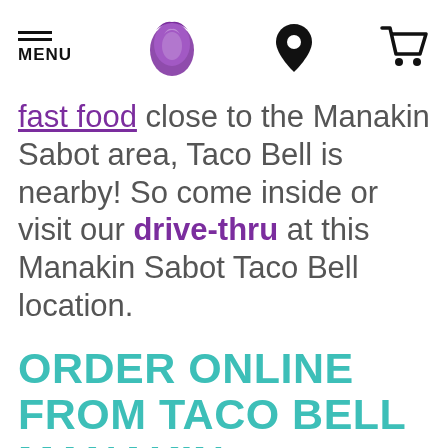MENU | Taco Bell logo | Location icon | Cart icon
fast food close to the Manakin Sabot area, Taco Bell is nearby! So come inside or visit our drive-thru at this Manakin Sabot Taco Bell location.
ORDER ONLINE FROM TACO BELL MANAKIN SABOT, VA